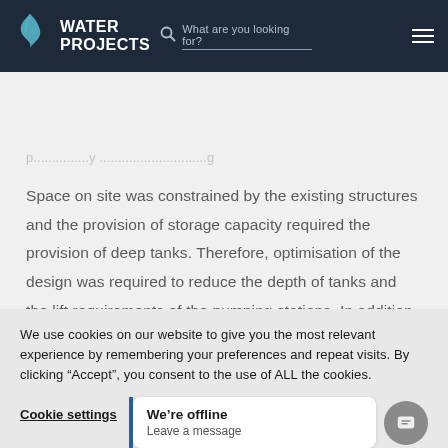WATER PROJECTS — What are you looking for?
Space on site was constrained by the existing structures and the provision of storage capacity required the provision of deep tanks. Therefore, optimisation of the design was required to reduce the depth of tanks and the lift requirements of the pumping stations. In addition, waste was minimised through effective reuse and incorporation of the existing assets
We use cookies on our website to give you the most relevant experience by remembering your preferences and repeat visits. By clicking “Accept”, you consent to the use of ALL the cookies.
Cookie settings
We’re offline
Leave a message